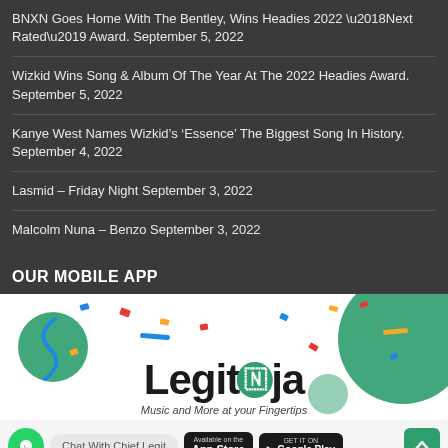BNXN Goes Home With The Bentley, Wins Headies 2022 ‘Next Rated’ Award. September 5, 2022
Wizkid Wins Song & Album Of The Year At The 2022 Headies Award. September 5, 2022
Kanye West Names Wizkid’s ‘Essence’ The Biggest Song In History. September 4, 2022
Lasmid – Friday Night September 3, 2022
Malcolm Nuna – Benzo September 3, 2022
OUR MOBILE APP
[Figure (logo): Legit.ng mobile app promotional banner with confetti decoration, Legit.ng logo with green Nigeria map icon, WhatsApp chat button, App Store and Google Play download buttons, tagline 'Music and More at your Fingertips']